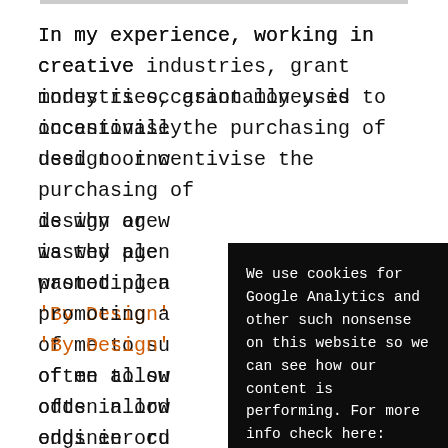In my experience, working in creative industries, grant money is occasionally used to incentivise the purchasing of design or w[obscured]...Thi is why age[obscured] wasted ple[obscured] promoting a[obscured] 'By Design'[obscured] of me to su[obscured] often allow[obscured] odds in ord[obscured] engineer cu[obscured] more advanc[obscured] clients act[obscured]
We use cookies for Google Analytics and other such nonsense on this website so we can see how our content is performing. For more info check here: Privacy Policy
Got it